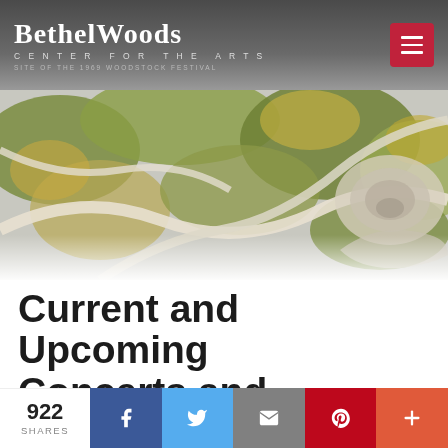Bethel Woods CENTER FOR THE ARTS SITE OF THE 1969 WOODSTOCK FESTIVAL
[Figure (photo): Aerial photograph of Bethel Woods Center for the Arts grounds showing winding paths, trees, and outdoor amphitheater structures from above]
Current and Upcoming Concerts and
922 SHARES
[Figure (infographic): Social share bar with Facebook, Twitter, Email, Pinterest, and More (+) buttons showing 922 shares]